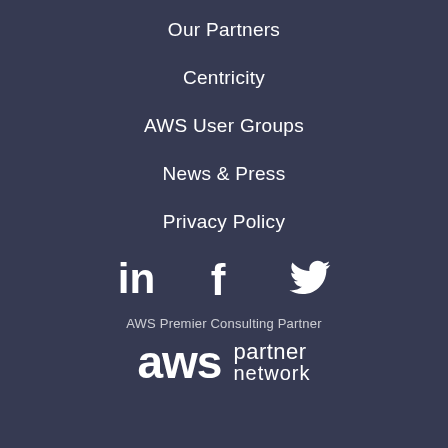Our Partners
Centricity
AWS User Groups
News & Press
Privacy Policy
[Figure (infographic): LinkedIn, Facebook, and Twitter social media icons in white on dark background]
AWS Premier Consulting Partner
[Figure (logo): AWS Partner Network logo with 'aws' in large bold text and 'partner network' to the right]